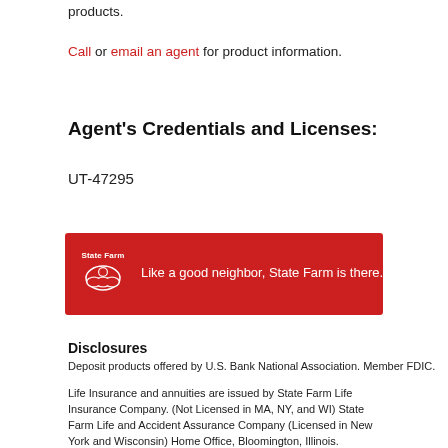products.
Call or email an agent for product information.
Agent's Credentials and Licenses:
UT-47295
[Figure (logo): State Farm red banner with logo and tagline: Like a good neighbor, State Farm is there.]
Disclosures
Deposit products offered by U.S. Bank National Association. Member FDIC.
Life Insurance and annuities are issued by State Farm Life Insurance Company. (Not Licensed in MA, NY, and WI) State Farm Life and Accident Assurance Company (Licensed in New York and Wisconsin) Home Office, Bloomington, Illinois.